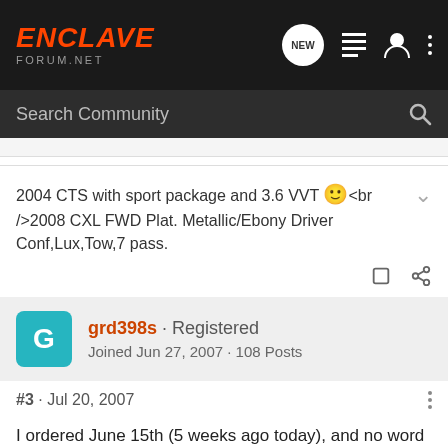ENCLAVE FORUM.NET
2004 CTS with sport package and 3.6 VVT 🙂<br />2008 CXL FWD Plat. Metallic/Ebony Driver Conf,Lux,Tow,7 pass.
grd398s · Registered
Joined Jun 27, 2007 · 108 Posts
#3 · Jul 20, 2007
I ordered June 15th (5 weeks ago today), and no word yet. I've been good and haven't called the dealer in a month, but I think I'm going to call today just for the sake of letting them know I'm still waiting patiently. I'm holding out hope I'll get it before Labor